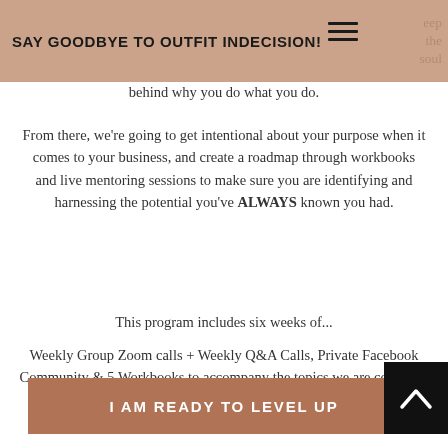SAY GOODBYE TO OUTFIT INDECISION!
behind why you do what you do.
From there, we're going to get intentional about your purpose when it comes to your business, and create a roadmap through workbooks and live mentoring sessions to make sure you are identifying and harnessing the potential you've ALWAYS known you had.
This program includes six weeks of...
Weekly Group Zoom calls + Weekly Q&A Calls, Private Facebook Community & 5 Workbooks to accompany the topics we are covering.
I AM READY TO LEVEL UP